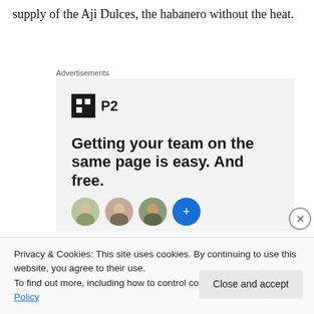supply of the Aji Dulces, the habanero without the heat.
Advertisements
[Figure (other): P2 advertisement: logo with dark square icon and 'P2' text, headline 'Getting your team on the same page is easy. And free.' with circular avatar photos below.]
Privacy & Cookies: This site uses cookies. By continuing to use this website, you agree to their use.
To find out more, including how to control cookies, see here: Cookie Policy